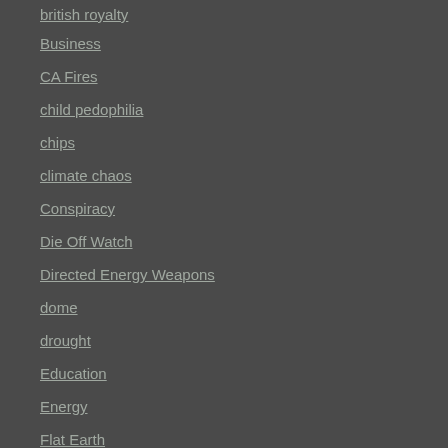british royalty
Business
CA Fires
child pedophilia
chips
climate chaos
Conspiracy
Die Off Watch
Directed Energy Weapons
dome
drought
Education
Energy
Flat Earth
fracking